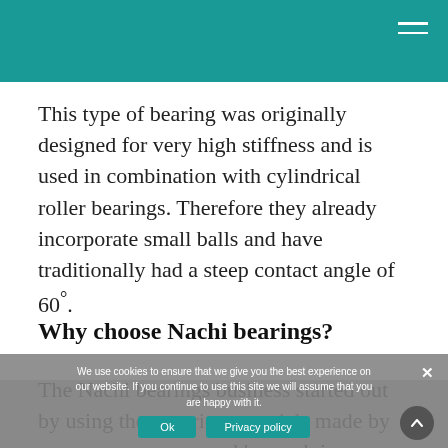This type of bearing was originally designed for very high stiffness and is used in combination with cylindrical roller bearings. Therefore they already incorporate small balls and have traditionally had a steep contact angle of 60°.
Why choose Nachi bearings?
The Nachi bearings business started out by using the superior materials made by our own company, and by applying expertise in cutting and heat treatment acquired from our